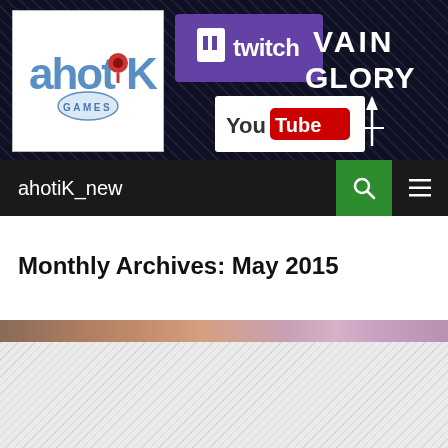[Figure (logo): Website header banner with ahotiK Games logo, Twitch logo, YouTube logo, and Vainglory logo on dark textured background]
ahotiK_new
Monthly Archives: May 2015
[Figure (photo): Partial image strip showing characters, partially visible at top of content image area]
[Figure (other): Diagonal hatched placeholder/loading area for image content]